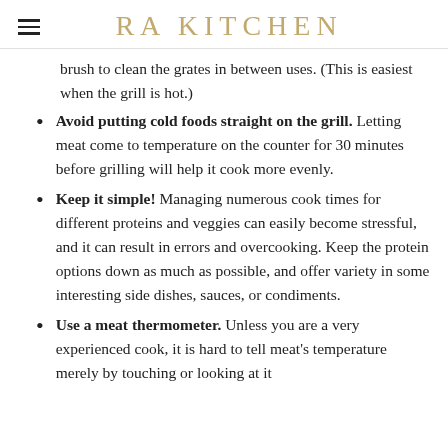RA KITCHEN
brush to clean the grates in between uses. (This is easiest when the grill is hot.)
Avoid putting cold foods straight on the grill. Letting meat come to temperature on the counter for 30 minutes before grilling will help it cook more evenly.
Keep it simple! Managing numerous cook times for different proteins and veggies can easily become stressful, and it can result in errors and overcooking. Keep the protein options down as much as possible, and offer variety in some interesting side dishes, sauces, or condiments.
Use a meat thermometer. Unless you are a very experienced cook, it is hard to tell meat's temperature merely by touching or looking at it